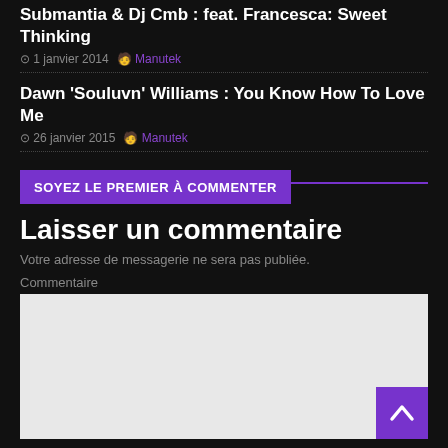Submantia & Dj Cmb : feat. Francesca: Sweet Thinking
1 janvier 2014  Manutek
Dawn 'Souluvn' Williams : You Know How To Love Me
26 janvier 2015  Manutek
SOYEZ LE PREMIER À COMMENTER
Laisser un commentaire
Votre adresse de messagerie ne sera pas publiée.
Commentaire
Nom